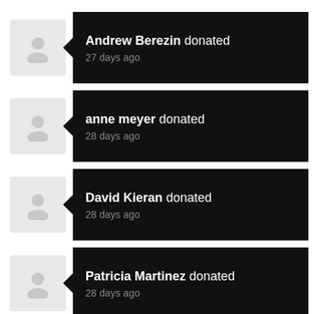Andrew Berezin donated 27 days ago
anne meyer donated 28 days ago
David Kieran donated 28 days ago
Patricia Martinez donated 28 days ago